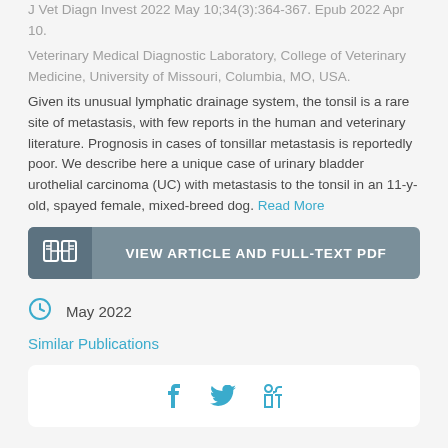J Vet Diagn Invest 2022 May 10;34(3):364-367. Epub 2022 Apr 10.
Veterinary Medical Diagnostic Laboratory, College of Veterinary Medicine, University of Missouri, Columbia, MO, USA.
Given its unusual lymphatic drainage system, the tonsil is a rare site of metastasis, with few reports in the human and veterinary literature. Prognosis in cases of tonsillar metastasis is reportedly poor. We describe here a unique case of urinary bladder urothelial carcinoma (UC) with metastasis to the tonsil in an 11-y-old, spayed female, mixed-breed dog. Read More
[Figure (other): Button: VIEW ARTICLE AND FULL-TEXT PDF with open book icon]
May 2022
Similar Publications
[Figure (other): Social share icons: Facebook, Twitter, LinkedIn]